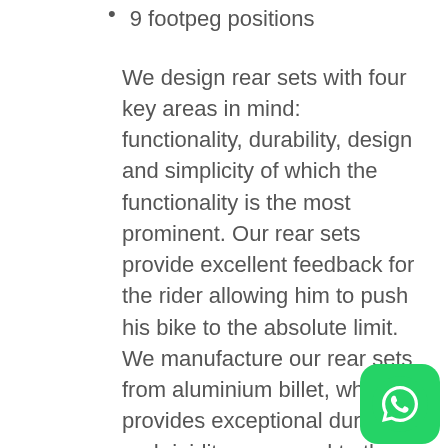9 footpeg positions
We design rear sets with four key areas in mind: functionality, durability, design and simplicity of which the functionality is the most prominent. Our rear sets provide excellent feedback for the rider allowing him to push his bike to the absolute limit. We manufacture our rear sets from aluminium billet, which provides exceptional durability and rigidity compared to the OEM rear set. The main parts’ surface is anodized to achieve a hard black finish for additional protection against scratches and environmental influences.
Both (you can switch between original and GP/reverse shift patterns)